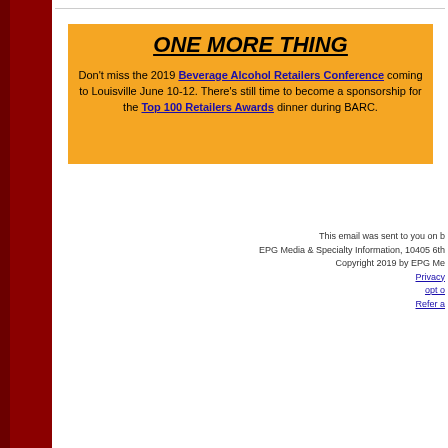ONE MORE THING
Don't miss the 2019 Beverage Alcohol Retailers Conference coming to Louisville June 10-12. There's still time to become a sponsorship for the Top 100 Retailers Awards dinner during BARC.
This email was sent to you on b EPG Media & Specialty Information, 10405 6th Copyright 2019 by EPG Me Privacy opt o Refer a